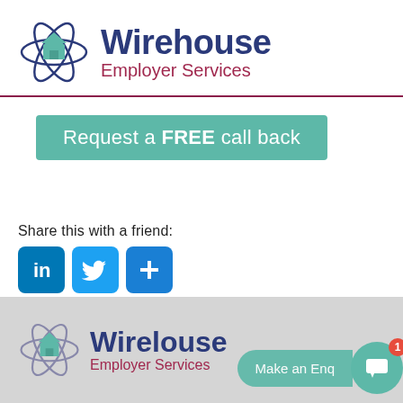[Figure (logo): Wirehouse Employer Services logo with atomic/house icon in teal and navy, company name in navy and maroon]
[Figure (infographic): Teal rounded rectangle button reading 'Request a FREE call back']
Share this with a friend:
[Figure (infographic): Social sharing icons: LinkedIn (blue), Twitter (light blue), More/Plus (blue)]
[Figure (logo): Footer: Wirehouse Employer Services logo repeated on grey background, with teal 'Make an Enquiry' button and chat widget with red badge showing 1]